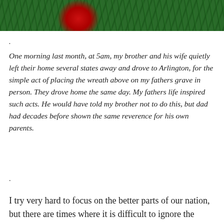[Figure (photo): A Christmas wreath with red flower/bow against green pine branches, cropped to show top portion only.]
.
One morning last month, at 5am, my brother and his wife quietly left their home several states away and drove to Arlington, for the simple act of placing the wreath above on my fathers grave in person. They drove home the same day. My fathers life inspired such acts. He would have told my brother not to do this, but dad had decades before shown the same reverence for his own parents.
.
I try very hard to focus on the better parts of our nation, but there are times where it is difficult to ignore the diseases and afflictions